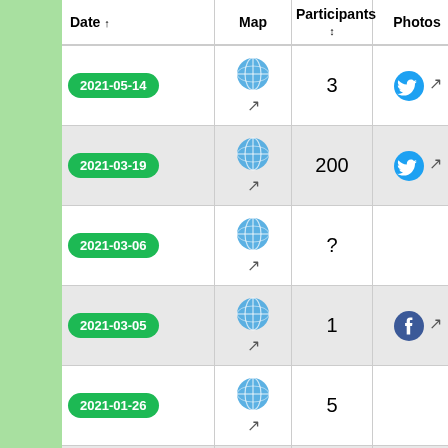| Date ↑ | Map | Participants ↕ | Photos | Ho… |
| --- | --- | --- | --- | --- |
| 2021-05-14 | 🌐 ↗ | 3 | 🐦 ↗ | Fridaysforfutu… |
| 2021-03-19 | 🌐 ↗ | 200 | 🐦 ↗ | My Right To B… |
| 2021-03-06 | 🌐 ↗ | ? |  |  |
| 2021-03-05 | 🌐 ↗ | 1 | f ↗ | My Right To B… |
| 2021-01-26 | 🌐 ↗ | 5 |  | My Right To B… |
| … | 🌐 |  |  |  |